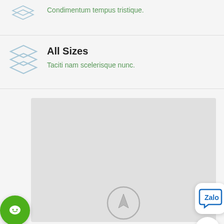Condimentum tempus tristique.
All Sizes
Taciti nam scelerisque nunc.
[Figure (map): Grey map placeholder with compass/navigation icon at bottom center, Zalo chat button top-right, green chat button bottom-left, scroll-to-top button bottom-right]